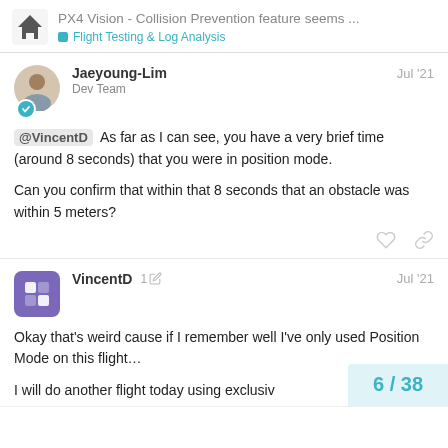PX4 Vision - Collision Prevention feature seems ... | Flight Testing & Log Analysis
Jaeyoung-Lim Dev Team Jul '21
@VincentD As far as I can see, you have a very brief time (around 8 seconds) that you were in position mode.

Can you confirm that within that 8 seconds that an obstacle was within 5 meters?
VincentD 1 Jul '21
Okay that's weird cause if I remember well I've only used Position Mode on this flight…

I will do another flight today using exclusiv
6 / 38